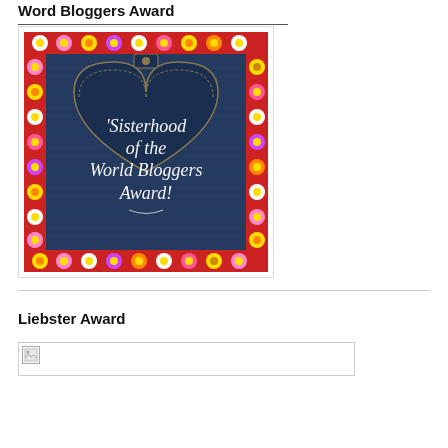Word Bloggers Award
[Figure (illustration): Sisterhood of the World Bloggers Award badge — denim pocket background with colorful flower border and white cursive text reading 'Sisterhood of the World Bloggers Award!']
Liebster Award
[Figure (illustration): Broken/missing image placeholder for Liebster Award image]